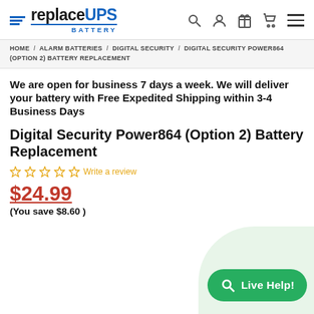replaceUPS BATTERY — navigation header with search, account, gift, cart, and menu icons
HOME / ALARM BATTERIES / DIGITAL SECURITY / DIGITAL SECURITY POWER864 (OPTION 2) BATTERY REPLACEMENT
We are open for business 7 days a week. We will deliver your battery with Free Expedited Shipping within 3-4 Business Days
Digital Security Power864 (Option 2) Battery Replacement
☆☆☆☆☆ Write a review
$24.99 (You save $8.60)